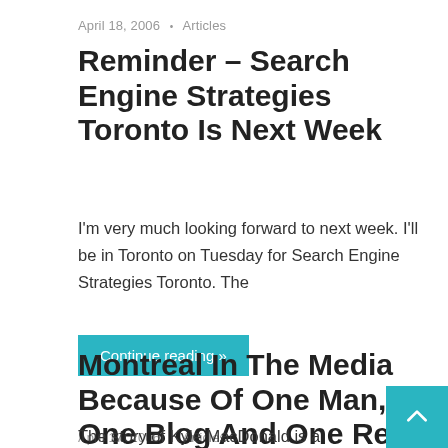April 18, 2006 • Articles
Reminder – Search Engine Strategies Toronto Is Next Week
I'm very much looking forward to next week. I'll be in Toronto on Tuesday for Search Engine Strategies Toronto. The
Continue reading »
April 17, 2006 • Articles
Montreal In The Media Because Of One Man, One Blog And One Red Paperclip
The story of Kyle MacDonald is a brushfire in the